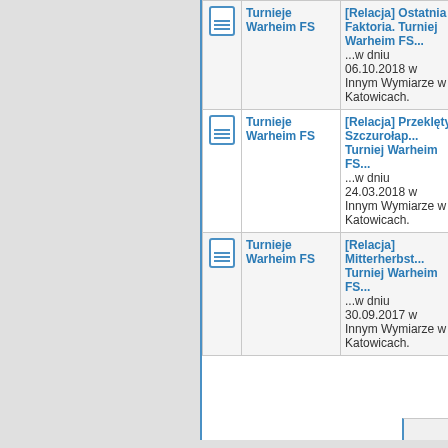|  | Category | Description | Count |
| --- | --- | --- | --- |
| [icon] | Turnieje Warheim FS | [Relacja] Ostatnia Faktoria. Turniej Warheim FS... ...w dniu 06.10.2018 w Innym Wymiarze w Katowicach. | 1 |
| [icon] | Turnieje Warheim FS | [Relacja] Przeklęty Szczurołap... Turniej Warheim FS... ...w dniu 24.03.2018 w Innym Wymiarze w Katowicach. | 0 |
| [icon] | Turnieje Warheim FS | [Relacja] Mitterherbst... Turniej Warheim FS... ...w dniu 30.09.2017 w Innym Wymiarze w Katowicach. | 1 |
Jum